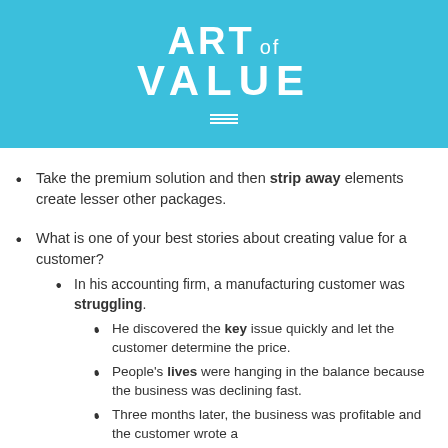ART OF VALUE
Take the premium solution and then strip away elements create lesser other packages.
What is one of your best stories about creating value for a customer?
In his accounting firm, a manufacturing customer was struggling.
He discovered the key issue quickly and let the customer determine the price.
People's lives were hanging in the balance because the business was declining fast.
Three months later, the business was profitable and the customer wrote a